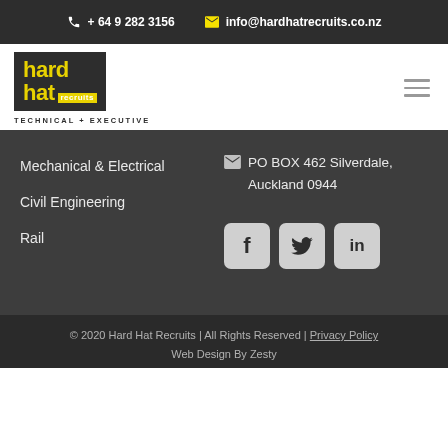+ 64 9 282 3156   info@hardhatrecruits.co.nz
[Figure (logo): Hard Hat Recruits logo with yellow text on dark background, subtitle TECHNICAL + EXECUTIVE]
Mechanical & Electrical
Civil Engineering
Rail
PO BOX 462 Silverdale, Auckland 0944
[Figure (other): Social media buttons: Facebook (f), Twitter (bird), LinkedIn (in)]
© 2020 Hard Hat Recruits | All Rights Reserved | Privacy Policy
Web Design By Zesty